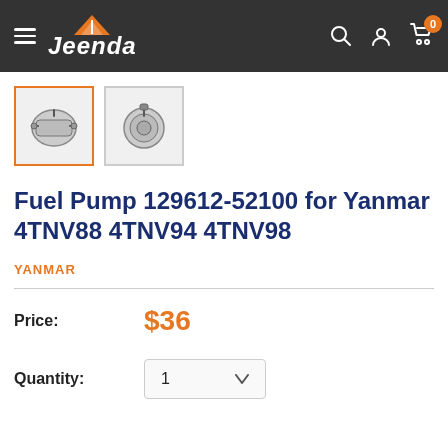Jeenda — navigation header with hamburger menu, logo, search, account, cart (0)
[Figure (photo): Two product thumbnail images of a fuel pump (part 129612-52100), first thumbnail selected with orange border]
Fuel Pump 129612-52100 for Yanmar 4TNV88 4TNV94 4TNV98
YANMAR
Price: $36
Quantity: 1